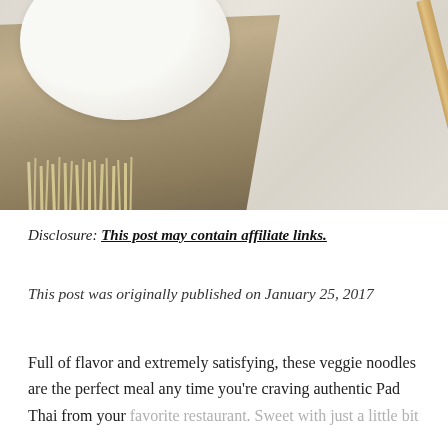[Figure (photo): Close-up photo of a bowl with a woven fringe cloth/napkin underneath and a wooden chopstick on a marble surface, top portion visible]
Disclosure: This post may contain affiliate links.
This post was originally published on January 25, 2017
Full of flavor and extremely satisfying, these veggie noodles are the perfect meal any time you're craving authentic Pad Thai from your favorite restaurant. Sweet with just a little bit